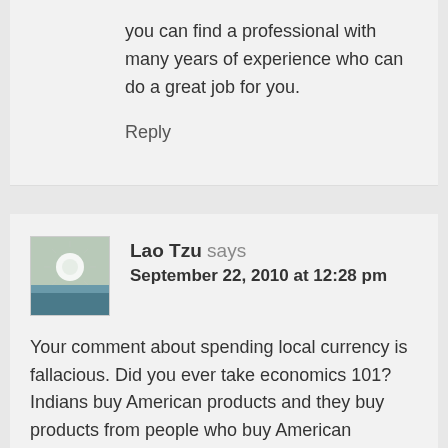you can find a professional with many years of experience who can do a great job for you.
Reply
Lao Tzu says
September 22, 2010 at 12:28 pm
Your comment about spending local currency is fallacious. Did you ever take economics 101? Indians buy American products and they buy products from people who buy American products. Likewise, Americans buy things